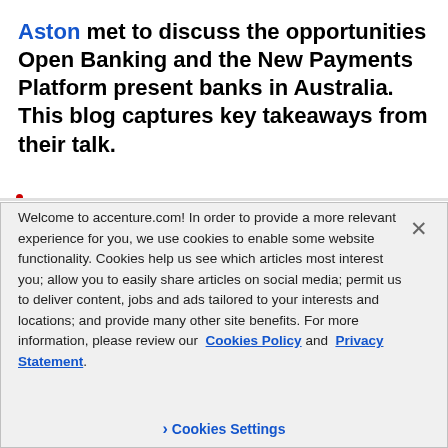Aston met to discuss the opportunities Open Banking and the New Payments Platform present banks in Australia. This blog captures key takeaways from their talk.
Welcome to accenture.com! In order to provide a more relevant experience for you, we use cookies to enable some website functionality. Cookies help us see which articles most interest you; allow you to easily share articles on social media; permit us to deliver content, jobs and ads tailored to your interests and locations; and provide many other site benefits. For more information, please review our Cookies Policy and Privacy Statement.
> Cookies Settings